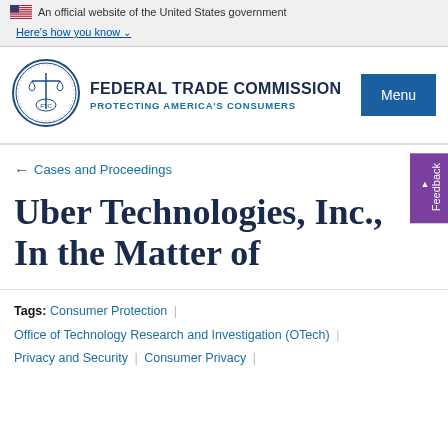An official website of the United States government
Here's how you know
[Figure (logo): Federal Trade Commission seal/logo]
FEDERAL TRADE COMMISSION PROTECTING AMERICA'S CONSUMERS
← Cases and Proceedings
Uber Technologies, Inc., In the Matter of
Tags: Consumer Protection | Office of Technology Research and Investigation (OTech) | Privacy and Security | Consumer Privacy |